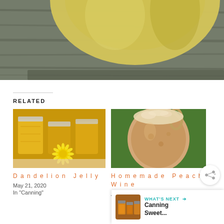[Figure (photo): Close-up photo of a yellow/green liquid in a glass bowl or container on a grey wooden surface]
RELATED
[Figure (photo): Photo of jars of golden dandelion jelly with a yellow dandelion flower in front]
Dandelion Jelly
May 21, 2020
In "Canning"
[Figure (photo): Photo of a glass jug of homemade peach wine with bubbles on top, set in green grass]
Homemade Peach Wine
August 17, 2018
In "Brewing"